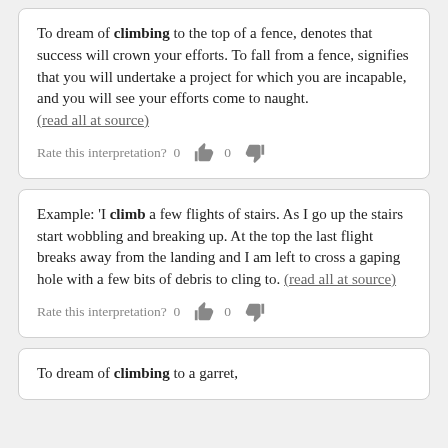To dream of climbing to the top of a fence, denotes that success will crown your efforts. To fall from a fence, signifies that you will undertake a project for which you are incapable, and you will see your efforts come to naught. (read all at source)
Rate this interpretation? 0 [thumbs up] 0 [thumbs down]
Example: 'I climb a few flights of stairs. As I go up the stairs start wobbling and breaking up. At the top the last flight breaks away from the landing and I am left to cross a gaping hole with a few bits of debris to cling to. (read all at source)
Rate this interpretation? 0 [thumbs up] 0 [thumbs down]
To dream of climbing to a garret,